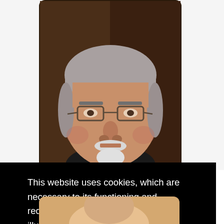[Figure (photo): Headshot photo of an older man with grey hair, glasses, and a white mustache/goatee, in front of dark wooden paneling. Photo is cropped at top of page.]
This website uses cookies, which are necessary to its functioning and required to achieve the purposes illustrated in the Privacy Policy. By using this website you agree to the use of the Privacy Policy, which includes the use of cookies. Learn more
Close
[Figure (photo): Partial headshot photo of a second person visible at the very bottom of the page, cropped.]